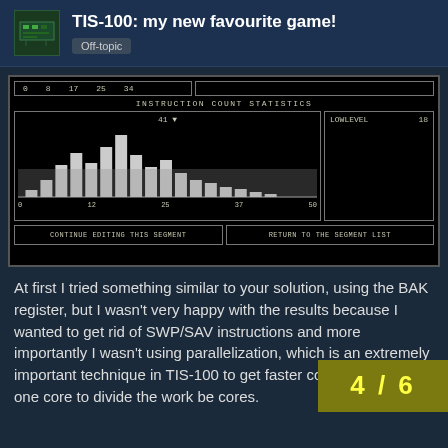TIS-100: my new favourite game! Off-topic
[Figure (screenshot): Screenshot of TIS-100 game showing INSTRUCTION COUNT STATISTICS with a histogram chart. X-axis: 0, 12, 25, 37, 50. Y-axis max: 41. Right panel shows LOWLEVEL 18. Buttons: CONTINUE EDITING THIS SEGMENT, RETURN TO THE SEGMENT LIST. Top bar shows values 0, 8, 17, 25, 34.]
At first I tried something similar to your solution, using the BAK register, but I wasn't very happy with the results because I wanted to get rid of SWP/SAV instructions and more importantly I wasn't using parallelization, which is an extremely important technique in TIS-100 to get faster code. So I used one core to divide the work be cores.
4 / 6